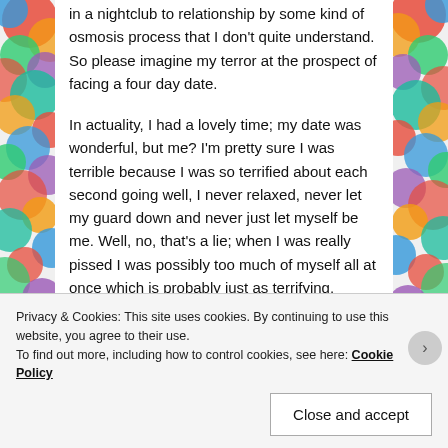in a nightclub to relationship by some kind of osmosis process that I don't quite understand. So please imagine my terror at the prospect of facing a four day date.
In actuality, I had a lovely time; my date was wonderful, but me? I'm pretty sure I was terrible because I was so terrified about each second going well, I never relaxed, never let my guard down and never just let myself be me. Well, no, that's a lie; when I was really pissed I was possibly too much of myself all at once which is probably just as terrifying.
On the last night, I did something that is a bit of a trademark for me. I drank too much and the pressure of hiding myself got too much, and my true feelings came forth in a burst of tears and arms. I even in a strange way...
Privacy & Cookies: This site uses cookies. By continuing to use this website, you agree to their use.
To find out more, including how to control cookies, see here: Cookie Policy
Close and accept